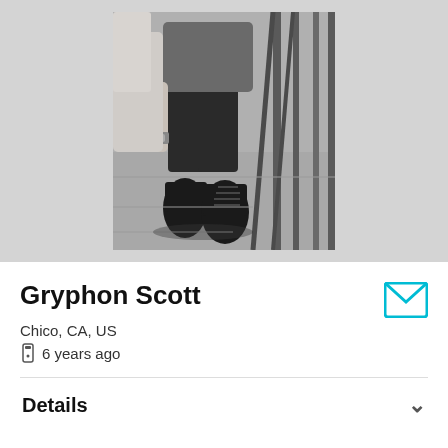[Figure (photo): Black and white photo of a person crouching/sitting on steps, wearing dark pants and black boots, with a watch on their wrist, metal railings visible in the background]
Gryphon Scott
Chico, CA, US
6 years ago
Details